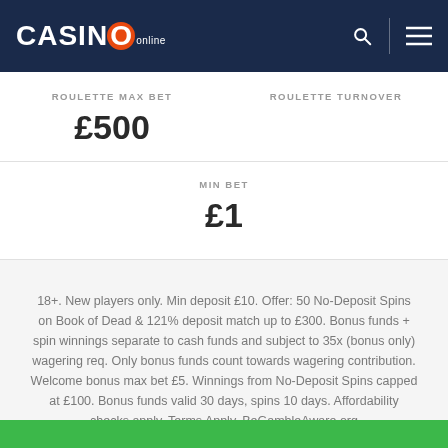Casino Online
ROULETTE MAX BET
ROULETTE TURNOVER
£500
MIN BET
£1
18+. New players only. Min deposit £10. Offer: 50 No-Deposit Spins on Book of Dead & 121% deposit match up to £300. Bonus funds + spin winnings separate to cash funds and subject to 35x (bonus only) wagering req. Only bonus funds count towards wagering contribution. Welcome bonus max bet £5. Winnings from No-Deposit Spins capped at £100. Bonus funds valid 30 days, spins 10 days. Affordability checks apply. Terms Apply. BeGambleAware.org
NO BONUS CODE REQUIRED